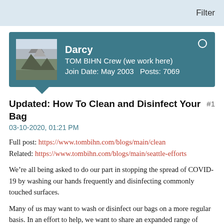Filter
[Figure (screenshot): User profile card for Darcy, TOM BIHN Crew member, with avatar showing a mountain landscape. Join Date: May 2003, Posts: 7069]
Updated: How To Clean and Disinfect Your Bag
#1
03-10-2020, 01:21 PM
Full post: https://www.tombihn.com/blogs/main/clean
Related: https://www.tombihn.com/blogs/main/seattle-efforts
We’re all being asked to do our part in stopping the spread of COVID-19 by washing our hands frequently and disinfecting commonly touched surfaces.
Many of us may want to wash or disinfect our bags on a more regular basis. In an effort to help, we want to share an expanded range of options for cleaning your bag.
Hand wash with dish soap, scrub with a wash cloth, and